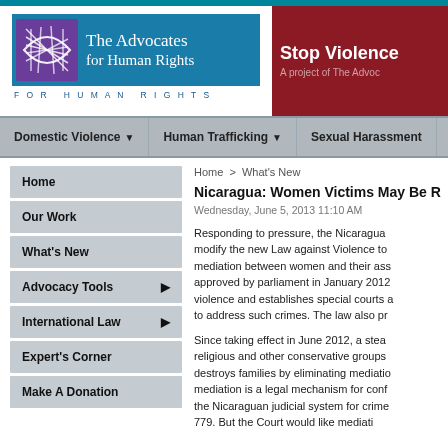[Figure (logo): The Advocates for Human Rights logo with teal background and globe icon]
[Figure (logo): Stop Violence banner on dark red background, a project of The Advocates]
Domestic Violence ▼   Human Trafficking ▼   Sexual Harassment
Home
Our Work
What's New
Advocacy Tools ▶
International Law ▶
Expert's Corner
Make A Donation
Home > What's New
Nicaragua: Women Victims May Be R...
Wednesday, June 5, 2013 11:10 AM
Responding to pressure, the Nicaragua... modify the new Law against Violence to... mediation between women and their ass... approved by parliament in January 2012... violence and establishes special courts a... to address such crimes. The law also pr...
Since taking effect in June 2012, a stea... religious and other conservative groups... destroys families by eliminating mediatio... mediation is a legal mechanism for conf... the Nicaraguan judicial system for crime... 779. But the Court would like mediati...